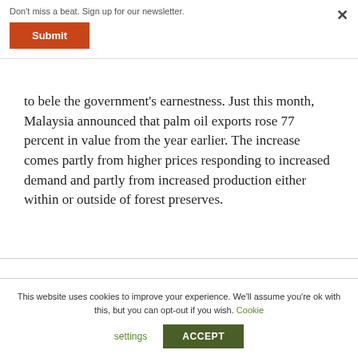Don't miss a beat. Sign up for our newsletter.
Submit
to bele the government's earnestness. Just this month, Malaysia announced that palm oil exports rose 77 percent in value from the year earlier. The increase comes partly from higher prices responding to increased demand and partly from increased production either within or outside of forest preserves.
This website uses cookies to improve your experience. We'll assume you're ok with this, but you can opt-out if you wish. Cookie settings ACCEPT